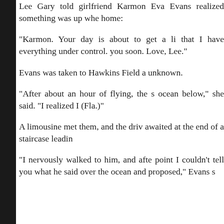Lee Gary told girlfriend Karmon Evans realized something was up when home:
"Karmon. Your day is about to get a li that I have everything under control. you soon. Love, Lee."
Evans was taken to Hawkins Field a unknown.
"After about an hour of flying, the s ocean below," she said. "I realized I (Fla.)"
A limousine met them, and the driv awaited at the end of a staircase leadin
"I nervously walked to him, and afte point I couldn't tell you what he said over the ocean and proposed," Evans s